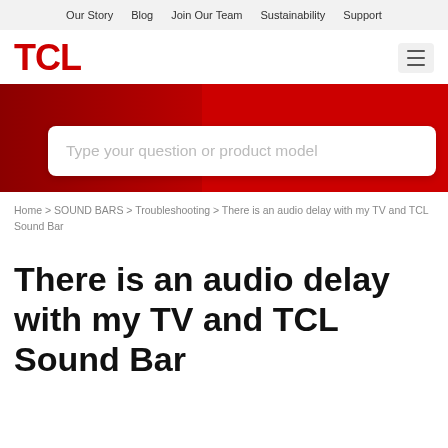Our Story  Blog  Join Our Team  Sustainability  Support
[Figure (logo): TCL logo in red with hamburger menu icon]
[Figure (screenshot): Red banner with white search box reading: Type your question or product model]
Home > SOUND BARS > Troubleshooting > There is an audio delay with my TV and TCL Sound Bar
There is an audio delay with my TV and TCL Sound Bar